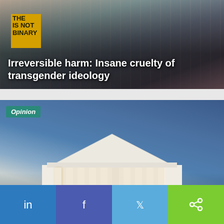[Figure (photo): Photo of protesters at a rally with yellow signs reading 'THE IS NOT BINARY', overlaid with bold white headline text]
Irreversible harm: Insane cruelty of transgender ideology
[Figure (photo): Photo of the US Supreme Court building illuminated at dusk/night with blue sky background, with Opinion badge and headline overlay]
What happened to Roe v Wade leak investigation?
[Figure (other): Social media share bar with LinkedIn, Facebook, Twitter, and share buttons]